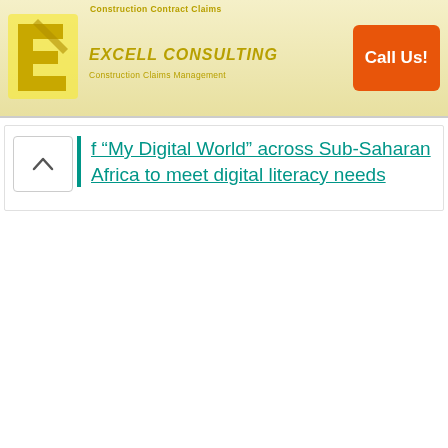[Figure (screenshot): Excell Consulting advertisement banner with yellow/gold logo featuring stylized E, company name 'EXCELL CONSULTING' in italic gold text, tagline 'Construction Claims Management', and an orange 'Call Us!' button on the right. Small text at top reads 'Construction Contract Claims'.]
f “My Digital World” across Sub-Saharan Africa to meet digital literacy needs